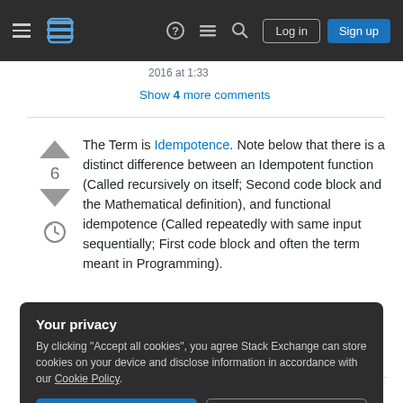Stack Exchange navigation header with hamburger menu, logo, help, chat, search, Log in, Sign up buttons
2016 at 1:33
Show 4 more comments
The Term is Idempotence. Note below that there is a distinct difference between an Idempotent function (Called recursively on itself; Second code block and the Mathematical definition), and functional idempotence (Called repeatedly with same input sequentially; First code block and often the term meant in Programming).
Your privacy
By clicking "Accept all cookies", you agree Stack Exchange can store cookies on your device and disclose information in accordance with our Cookie Policy.
Accept all cookies   Customize settings
first call[citation needed] (assuming no